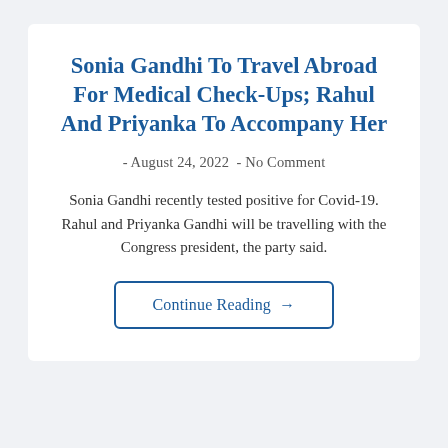Sonia Gandhi To Travel Abroad For Medical Check-Ups; Rahul And Priyanka To Accompany Her
- August 24, 2022  - No Comment
Sonia Gandhi recently tested positive for Covid-19. Rahul and Priyanka Gandhi will be travelling with the Congress president, the party said.
Continue Reading →